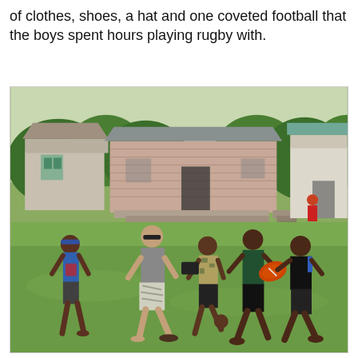of clothes, shoes, a hat and one coveted football that the boys spent hours playing rugby with.
[Figure (photo): Outdoor photograph of children and one adult playing rugby on a grass field. A boy in a green shirt holds an orange rugby ball while other children try to tackle him. An adult in a grey shirt and patterned shorts observes. In the background are wooden houses/shacks and lush green trees.]